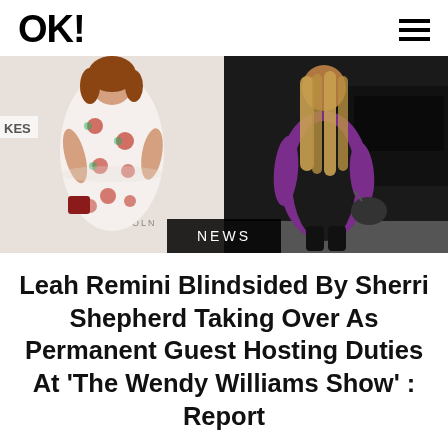OK!
[Figure (photo): Two side-by-side celebrity photos: left shows a woman in a white floral dress at an event, right shows a woman in a black outfit with a purple cardigan outdoors near a car. A dark 'NEWS' badge overlays the bottom center of the combined image.]
Leah Remini Blindsided By Sherri Shepherd Taking Over As Permanent Guest Hosting Duties At 'The Wendy Williams Show' : Report